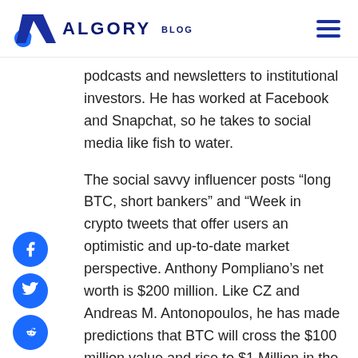ALGORY BLOG
podcasts and newsletters to institutional investors. He has worked at Facebook and Snapchat, so he takes to social media like fish to water.
The social savvy influencer posts “long BTC, short bankers” and “Week in crypto tweets that offer users an optimistic and up-to-date market perspective. Anthony Pompliano’s net worth is $200 million. Like CZ and Andreas M. Antonopoulos, he has made predictions that BTC will cross the $100 million value and rise to $1 Million in the near future.